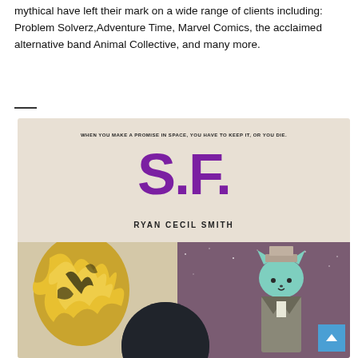mythical have left their mark on a wide range of clients including: Problem Solverz,Adventure Time, Marvel Comics, the acclaimed alternative band Animal Collective, and many more.
[Figure (illustration): Book cover for 'S.F.' by Ryan Cecil Smith. Cream/tan background with large purple bold 'S.F.' title text. Tagline reads: 'WHEN YOU MAKE A PROMISE IN SPACE, YOU HAVE TO KEEP IT, OR YOU DIE.' Below is an illustration showing a space scene: on the left a fiery yellow-black explosion near a dark planet, on the right a teal/mint cat character in a suit standing against a purple starry space background.]